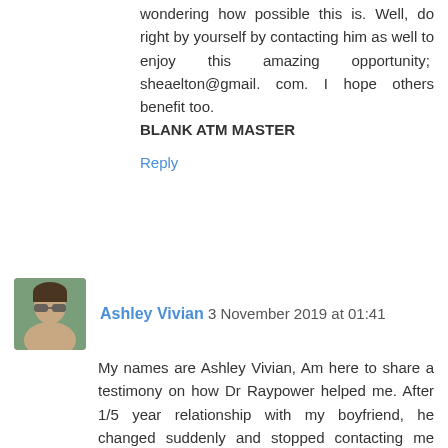wondering how possible this is. Well, do right by yourself by contacting him as well to enjoy this amazing opportunity;  sheaelton@gmail. com. I hope others benefit too.
BLANK ATM MASTER
Reply
Ashley Vivian  3 November 2019 at 01:41
My names are Ashley Vivian, Am here to share a testimony on how Dr Raypower helped me. After 1/5 year relationship with my boyfriend, he changed suddenly and stopped contacting me regularly, he would come up with excuses of not seeing me all the time. He stopped answering my calls and my sms and he stopped seeing me regularly. I then started catching him with different girls several times but every time he would say that he love me and that he needed some time to think about our relationship. But cannot stop thinking about him so i decided to go online and i saw so many good talk about this spell caster called Dr Raypower and i contact him and explain my problems to him. He cast a love spell for me which i use and after 24 hours, my boyfriend came back to me and started